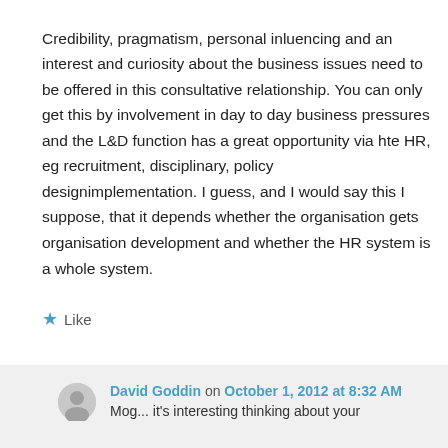Credibility, pragmatism, personal inluencing and an interest and curiosity about the business issues need to be offered in this consultative relationship. You can only get this by involvement in day to day business pressures and the L&D function has a great opportunity via hte HR, eg recruitment, disciplinary, policy designimplementation. I guess, and I would say this I suppose, that it depends whether the organisation gets organisation development and whether the HR system is a whole system.
★ Like
David Goddin on October 1, 2012 at 8:32 AM
Mog... it's interesting thinking about your